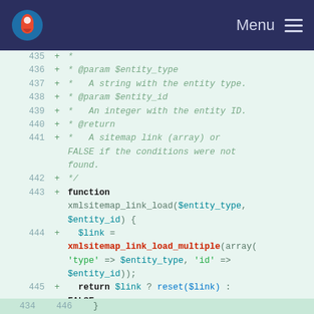[Figure (screenshot): Navigation bar with Drupal logo and Menu hamburger icon on dark navy background]
435  +  *
436  +  * @param $entity_type
437  +  *   A string with the entity type.
438  +  * @param $entity_id
439  +  *   An integer with the entity ID.
440  +  * @return
441  +  *   A sitemap link (array) or FALSE if the conditions were not found.
442  +  */
443  +  function xmlsitemap_link_load($entity_type, $entity_id) {
444  +    $link = xmlsitemap_link_load_multiple(array('type' => $entity_type, 'id' => $entity_id));
445  +    return $link ? reset($link) : FALSE;
446     }